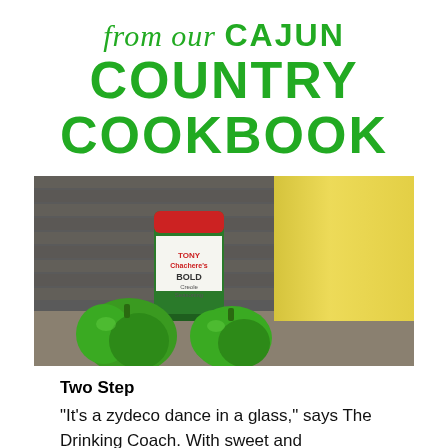from our CAJUN COUNTRY COOKBOOK
[Figure (photo): Photo of Tony Chachere's Bold Creole Seasoning canister flanked by green bell peppers on left and a tall yellow frozen drink/block on the right, with a dark brick wall background.]
Two Step
"It's a zydeco dance in a glass," says The Drinking Coach. With sweet and